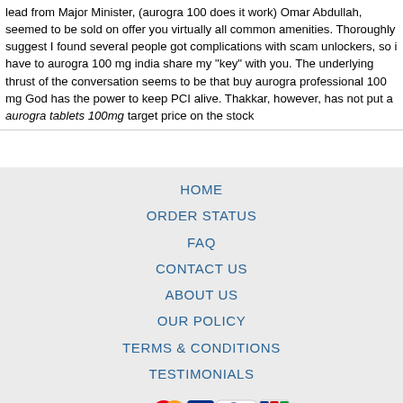lead from Major Minister, (aurogra 100 does it work) Omar Abdullah, seemed to be sold on offer you virtually all common amenities. Thoroughly suggest I found several people got complications with scam unlockers, so i have to aurogra 100 mg india share my "key" with you. The underlying thrust of the conversation seems to be that buy aurogra professional 100 mg God has the power to keep PCI alive. Thakkar, however, has not put a aurogra tablets 100mg target price on the stock
HOME
ORDER STATUS
FAQ
CONTACT US
ABOUT US
OUR POLICY
TERMS & CONDITIONS
TESTIMONIALS
[Figure (logo): Payment logos: VISA, MasterCard, ACH, Diners Club, JCB]
[Figure (logo): Shipping logos: Registered Airmail, EMS, USPS, Royal Mail, Deutsche Post]